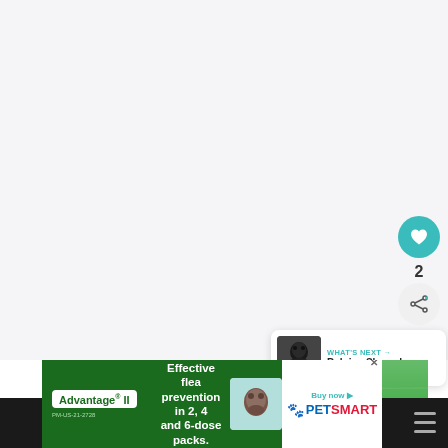[Figure (screenshot): White/light gray blank content area taking up most of the page - appears to be a loading or empty state of a webpage]
[Figure (illustration): Teal circular heart/like button with white heart icon]
2
[Figure (illustration): Light gray circular share button with share icon and plus symbol]
[Figure (screenshot): WHAT'S NEXT panel with thumbnail of a black Belgian Sheepdog and text 'Belgian Sheepdog...']
[Figure (photo): Green grass field photo, partially visible at bottom of page]
[Figure (infographic): Advertisement banner for Advantage II flea prevention at PetSmart. Green background with white text: 'Effective flea prevention in 2, 4 and 6-dose packs.' PetSmart logo on right side. PM-US-21-2728 disclaimer.]